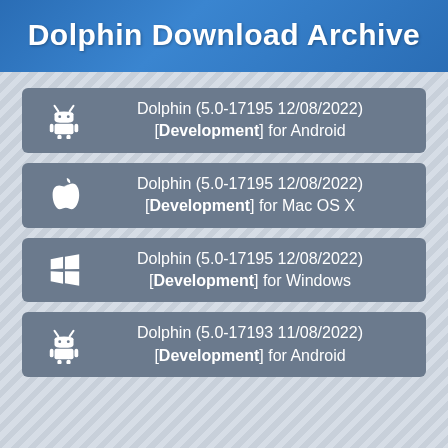Dolphin Download Archive
Dolphin (5.0-17195 12/08/2022) [Development] for Android
Dolphin (5.0-17195 12/08/2022) [Development] for Mac OS X
Dolphin (5.0-17195 12/08/2022) [Development] for Windows
Dolphin (5.0-17193 11/08/2022) [Development] for Android